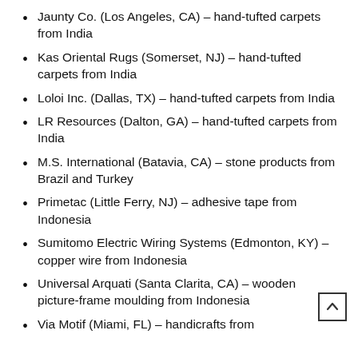Jaunty Co. (Los Angeles, CA) – hand-tufted carpets from India
Kas Oriental Rugs (Somerset, NJ) – hand-tufted carpets from India
Loloi Inc. (Dallas, TX) – hand-tufted carpets from India
LR Resources (Dalton, GA) – hand-tufted carpets from India
M.S. International (Batavia, CA) – stone products from Brazil and Turkey
Primetac (Little Ferry, NJ) – adhesive tape from Indonesia
Sumitomo Electric Wiring Systems (Edmonton, KY) – copper wire from Indonesia
Universal Arquati (Santa Clarita, CA) – wooden picture-frame moulding from Indonesia
Via Motif (Miami, FL) – handicrafts from